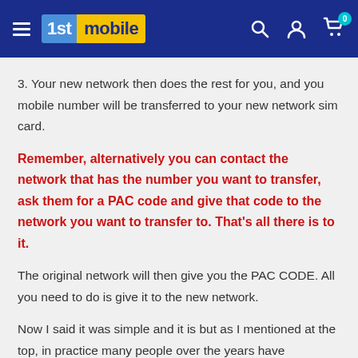1st mobile — navigation header with logo, search, account, and cart icons
3. Your new network then does the rest for you, and you mobile number will be transferred to your new network sim card.
Remember, alternatively you can contact the network that has the number you want to transfer, ask them for a PAC code and give that code to the network you want to transfer to. That's all there is to it.
The original network will then give you the PAC CODE. All you need to do is give it to the new network.
Now I said it was simple and it is but as I mentioned at the top, in practice many people over the years have complained that the networks can make it difficult, trying to push them to stay with the network, offer a new deal or even refuse to give you